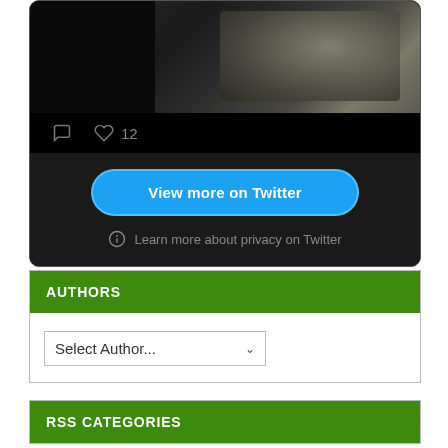[Figure (screenshot): Twitter/X embed widget showing a dark-themed tweet with an image (person lying back), comment and heart icons with count '12', a 'View more on Twitter' blue button, and 'Learn more about privacy on Twitter' link]
AUTHORS
Select Author...
RSS CATEGORIES